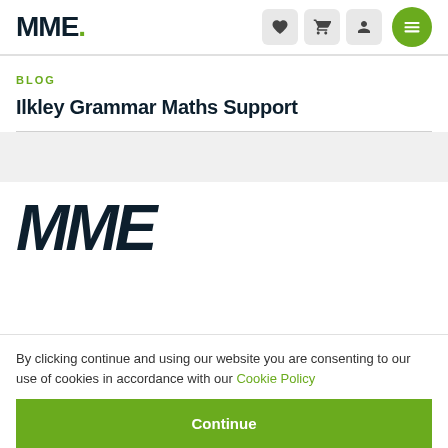MME.
BLOG
Ilkley Grammar Maths Support
[Figure (logo): Large MME logo in dark navy, bold italic text]
By clicking continue and using our website you are consenting to our use of cookies in accordance with our Cookie Policy
Continue